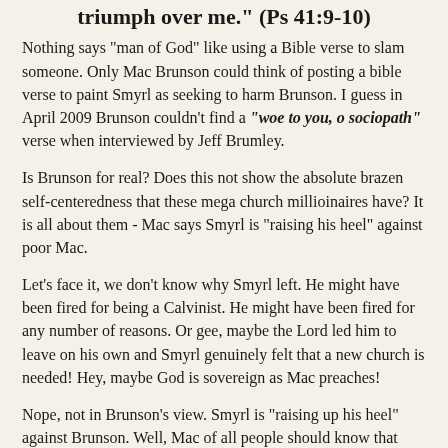triumph over me." (Ps 41:9-10)
Nothing says "man of God" like using a Bible verse to slam someone. Only Mac Brunson could think of posting a bible verse to paint Smyrl as seeking to harm Brunson. I guess in April 2009 Brunson couldn't find a "woe to you, o sociopath" verse when interviewed by Jeff Brumley.
Is Brunson for real? Does this not show the absolute brazen self-centeredness that these mega church millioinaires have? It is all about them - Mac says Smyrl is "raising his heel" against poor Mac.
Let's face it, we don't know why Smyrl left. He might have been fired for being a Calvinist. He might have been fired for any number of reasons. Or gee, maybe the Lord led him to leave on his own and Smyrl genuinely felt that a new church is needed! Hey, maybe God is sovereign as Mac preaches!
Nope, not in Brunson's view. Smyrl is "raising up his heel" against Brunson. Well, Mac of all people should know that these days "megachurch" is a cut-throat business. When Mac and Maurilio